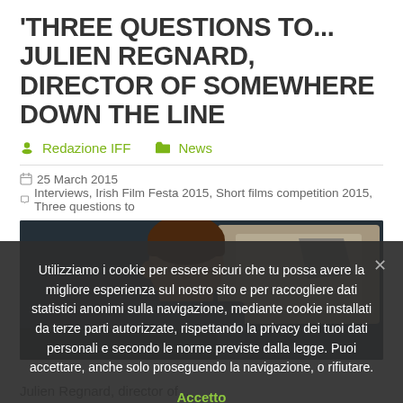THREE QUESTIONS TO... JULIEN REGNARD, DIRECTOR OF SOMEWHERE DOWN THE LINE
Redazione IFF   News
25 March 2015   Interviews, Irish Film Festa 2015, Short films competition 2015, Three questions to
[Figure (illustration): Animated still from the film 'Somewhere Down the Line' showing a cartoon character with brown hair in what appears to be a dimly lit interior scene.]
Utilizziamo i cookie per essere sicuri che tu possa avere la migliore esperienza sul nostro sito e per raccogliere dati statistici anonimi sulla navigazione, mediante cookie installati da terze parti autorizzate, rispettando la privacy dei tuoi dati personali e secondo le norme previste dalla legge. Puoi accettare, anche solo proseguendo la navigazione, o rifiutare.
Accetto
Julien Regnard, director of...